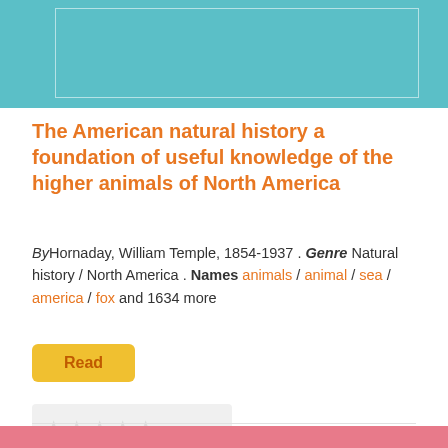[Figure (illustration): Teal/cyan colored banner at top of page with a white-bordered inner rectangle]
The American natural history a foundation of useful knowledge of the higher animals of North America
By Hornaday, William Temple, 1854-1937 . Genre Natural history / North America . Names animals / animal / sea / america / fox and 1634 more
[Figure (other): Yellow/gold Read button]
[Figure (other): Star rating graphic (greyed out, 0 stars)]
0 views